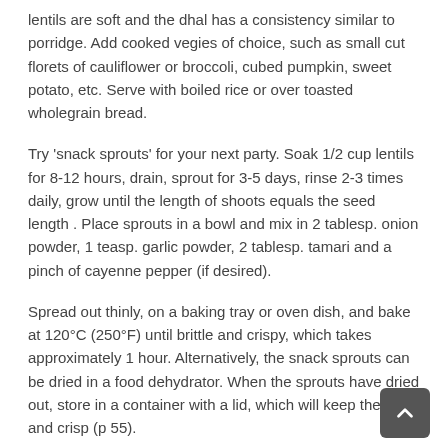lentils are soft and the dhal has a consistency similar to porridge. Add cooked vegies of choice, such as small cut florets of cauliflower or broccoli, cubed pumpkin, sweet potato, etc. Serve with boiled rice or over toasted wholegrain bread.
Try 'snack sprouts' for your next party. Soak 1/2 cup lentils for 8-12 hours, drain, sprout for 3-5 days, rinse 2-3 times daily, grow until the length of shoots equals the seed length . Place sprouts in a bowl and mix in 2 tablesp. onion powder, 1 teasp. garlic powder, 2 tablesp. tamari and a pinch of cayenne pepper (if desired).
Spread out thinly, on a baking tray or oven dish, and bake at 120°C (250°F) until brittle and crispy, which takes approximately 1 hour. Alternatively, the snack sprouts can be dried in a food dehydrator. When the sprouts have dried out, store in a container with a lid, which will keep them dry and crisp (p 55).